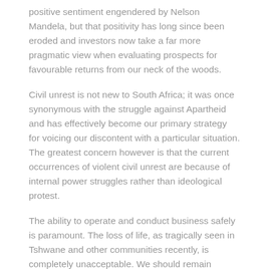positive sentiment engendered by Nelson Mandela, but that positivity has long since been eroded and investors now take a far more pragmatic view when evaluating prospects for favourable returns from our neck of the woods.
Civil unrest is not new to South Africa; it was once synonymous with the struggle against Apartheid and has effectively become our primary strategy for voicing our discontent with a particular situation. The greatest concern however is that the current occurrences of violent civil unrest are because of internal power struggles rather than ideological protest.
The ability to operate and conduct business safely is paramount. The loss of life, as tragically seen in Tshwane and other communities recently, is completely unacceptable. We should remain permanently cognisant of the need to demonstrate